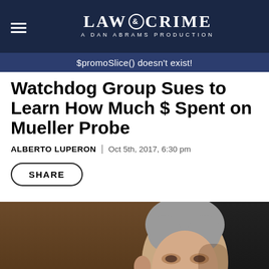LAW & CRIME — A DAN ABRAMS PRODUCTION
$promoSlice() doesn't exist!
Watchdog Group Sues to Learn How Much $ Spent on Mueller Probe
ALBERTO LUPERON | Oct 5th, 2017, 6:30 pm
SHARE
[Figure (photo): Photo of Robert Mueller with partial text 'TON' visible in background]